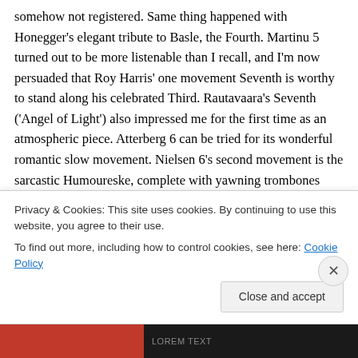somehow not registered. Same thing happened with Honegger's elegant tribute to Basle, the Fourth. Martinu 5 turned out to be more listenable than I recall, and I'm now persuaded that Roy Harris' one movement Seventh is worthy to stand along his celebrated Third. Rautavaara's Seventh ('Angel of Light') also impressed me for the first time as an atmospheric piece. Atterberg 6 can be tried for its wonderful romantic slow movement. Nielsen 6's second movement is the sarcastic Humoureske, complete with yawning trombones bored by the modern music the perky
Privacy & Cookies: This site uses cookies. By continuing to use this website, you agree to their use.
To find out more, including how to control cookies, see here: Cookie Policy
Close and accept